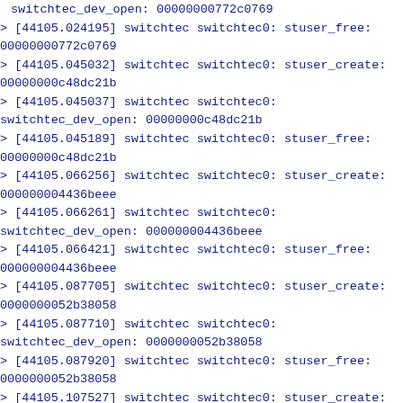switchtec_dev_open: 00000000772c0769
> [44105.024195] switchtec switchtec0: stuser_free: 00000000772c0769
> [44105.045032] switchtec switchtec0: stuser_create: 00000000c48dc21b
> [44105.045037] switchtec switchtec0: switchtec_dev_open: 00000000c48dc21b
> [44105.045189] switchtec switchtec0: stuser_free: 00000000c48dc21b
> [44105.066256] switchtec switchtec0: stuser_create: 000000004436beee
> [44105.066261] switchtec switchtec0: switchtec_dev_open: 000000004436beee
> [44105.066421] switchtec switchtec0: stuser_free: 000000004436beee
> [44105.087705] switchtec switchtec0: stuser_create: 0000000052b38058
> [44105.087710] switchtec switchtec0: switchtec_dev_open: 0000000052b38058
> [44105.087920] switchtec switchtec0: stuser_free: 0000000052b38058
> [44105.107527] switchtec switchtec0: stuser_create: 000000005b15e6d3
> [44105.107532] switchtec switchtec0: switchtec_dev_open: 000000005b15e6d3
> [44105.107718] switchtec switchtec0: stuser_free: 000000005b15e6d3
> [44105.130832] switchtec switchtec0: stuser_create: 0000000005379e8de
> [44105.130836] switchtec switchtec0: